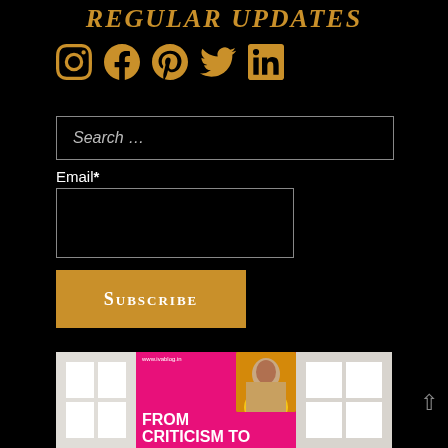REGULAR UPDATES
[Figure (infographic): Row of five social media icons (Instagram, Facebook, Pinterest, Twitter, LinkedIn) in gold color]
Search …
Email*
SUBSCRIBE
[Figure (photo): Blog post thumbnail image with pink background showing a woman with dark hair and text reading FROM CRITICISM TO, with url www.ivablog.in, flanked by room interior images on left and right]